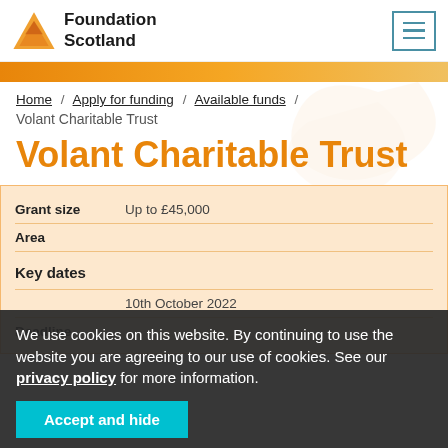[Figure (logo): Foundation Scotland logo with orange triangle and bold text]
Home / Apply for funding / Available funds / Volant Charitable Trust
Volant Charitable Trust
| Field | Value |
| --- | --- |
| Grant size | Up to £45,000 |
| Area |  |
| Key dates |  |
|  | 10th October 2022 |
| Deadline |  |
We use cookies on this website. By continuing to use the website you are agreeing to our use of cookies. See our privacy policy for more information.
Accept and hide